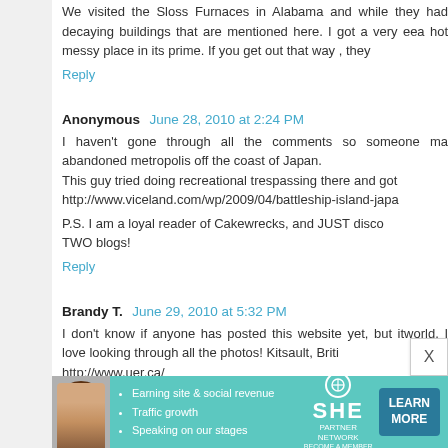We visited the Sloss Furnaces in Alabama and while they had decaying buildings that are mentioned here. I got a very ee... a hot messy place in its prime. If you get out that way , they
Reply
Anonymous   June 28, 2010 at 2:24 PM
I haven't gone through all the comments so someone ma... abandoned metropolis off the coast of Japan.
This guy tried doing recreational trespassing there and got ...
http://www.viceland.com/wp/2009/04/battleship-island-japa...

P.S. I am a loyal reader of Cakewrecks, and JUST disco... TWO blogs!
Reply
Brandy T.   June 29, 2010 at 5:32 PM
I don't know if anyone has posted this website yet, but it... world. I love looking through all the photos! Kitsault, Briti... http://www.uer.ca/
Reply
[Figure (infographic): Advertisement banner for SHE Partner Network with teal background, photo of a woman, bullet points about earning site & social revenue, traffic growth, speaking on our stages, SHE logo, and LEARN MORE button]